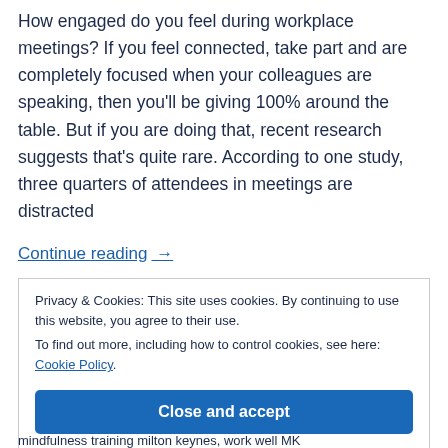How engaged do you feel during workplace meetings? If you feel connected, take part and are completely focused when your colleagues are speaking, then you'll be giving 100% around the table. But if you are doing that, recent research suggests that's quite rare. According to one study, three quarters of attendees in meetings are distracted
Continue reading  →
Privacy & Cookies: This site uses cookies. By continuing to use this website, you agree to their use.
To find out more, including how to control cookies, see here: Cookie Policy
Close and accept
mindfulness training milton keynes, work well MK